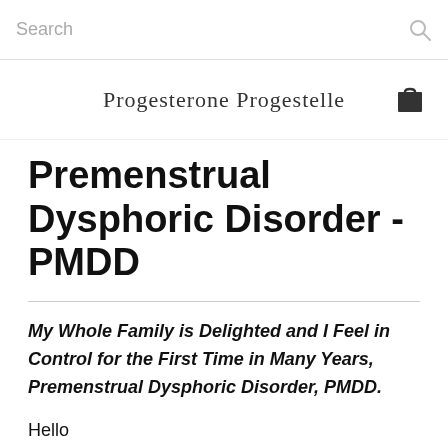Search
Progesterone Progestelle
Premenstrual Dysphoric Disorder - PMDD
My Whole Family is Delighted and I Feel in Control for the First Time in Many Years, Premenstrual Dysphoric Disorder, PMDD.
Hello